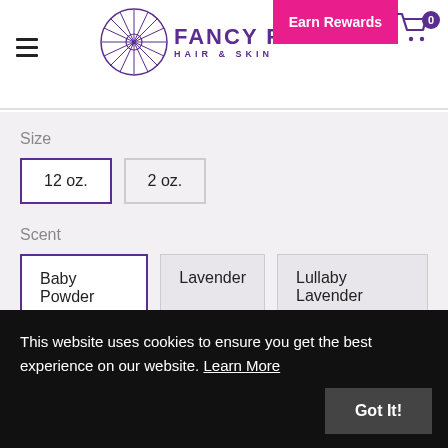Fancy Fro Hair & Skin — Earn Rewards — Cart 0
Size
12 oz. (selected)
2 oz.
Scent
Baby Powder (selected)
Lavender
Lullaby Lavender
Unscented
This website uses cookies to ensure you get the best experience on our website. Learn More
Got It!